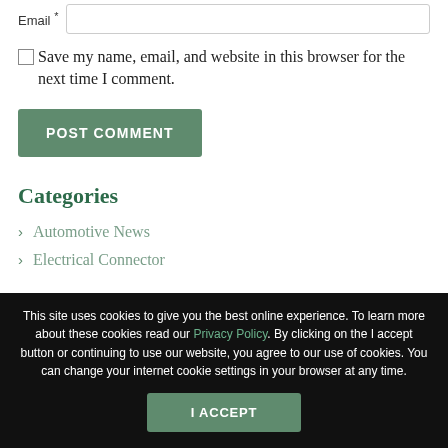Email *
Save my name, email, and website in this browser for the next time I comment.
POST COMMENT
Categories
Automotive News
Electrical Connector
This site uses cookies to give you the best online experience. To learn more about these cookies read our Privacy Policy. By clicking on the I accept button or continuing to use our website, you agree to our use of cookies. You can change your internet cookie settings in your browser at any time.
I ACCEPT